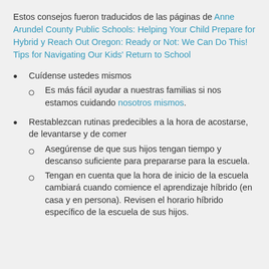Estos consejos fueron traducidos de las páginas de Anne Arundel County Public Schools: Helping Your Child Prepare for Hybrid y Reach Out Oregon: Ready or Not: We Can Do This! Tips for Navigating Our Kids' Return to School
Cuídense ustedes mismos
Es más fácil ayudar a nuestras familias si nos estamos cuidando nosotros mismos.
Restablezcan rutinas predecibles a la hora de acostarse, de levantarse y de comer
Asegúrense de que sus hijos tengan tiempo y descanso suficiente para prepararse para la escuela.
Tengan en cuenta que la hora de inicio de la escuela cambiará cuando comience el aprendizaje híbrido (en casa y en persona). Revisen el horario híbrido específico de la escuela de sus hijos.